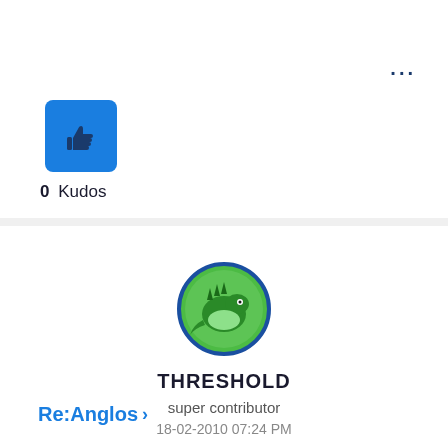[Figure (illustration): Blue thumbs-up kudos button icon]
0 Kudos
[Figure (illustration): User avatar: circular green dragon/lizard logo with blue border for user THRESHOLD]
THRESHOLD
super contributor
18-02-2010 07:24 PM
Re:Anglos >